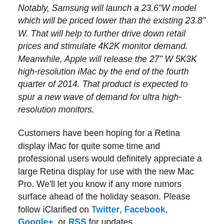Notably, Samsung will launch a 23.6"W model which will be priced lower than the existing 23.8" W. That will help to further drive down retail prices and stimulate 4K2K monitor demand. Meanwhile, Apple will release the 27" W 5K3K high-resolution iMac by the end of the fourth quarter of 2014. That product is expected to spur a new wave of demand for ultra high-resolution monitors.
Customers have been hoping for a Retina display iMac for quite some time and professional users would definitely appreciate a large Retina display for use with the new Mac Pro. We'll let you know if any more rumors surface ahead of the holiday season. Please follow iClarified on Twitter, Facebook, Google+, or RSS for updates.